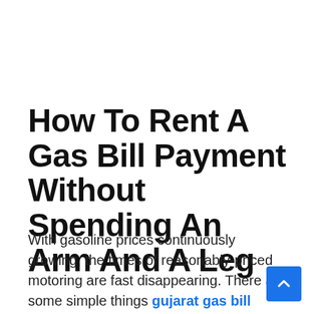How To Rent A Gas Bill Payment Without Spending An Arm And A Leg
With gasoline prices continuously growing, the times of reasonably-priced motoring are fast disappearing. There are some simple things gujarat gas bill payment that you can do to